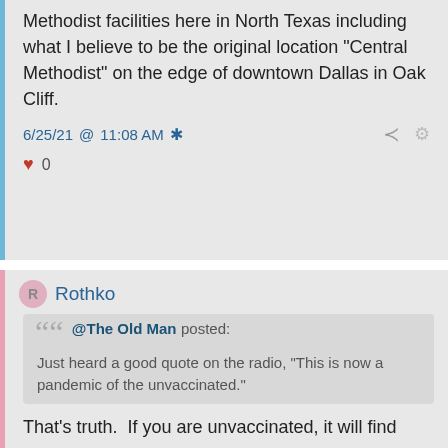Methodist facilities here in North Texas including what I believe to be the original location "Central Methodist" on the edge of downtown Dallas in Oak Cliff.
6/25/21 @ 11:08 AM *
♥ 0
Rothko
@The Old Man posted: Just heard a good quote on the radio, "This is now a pandemic of the unvaccinated."
That's truth.  If you are unvaccinated, it will find you.